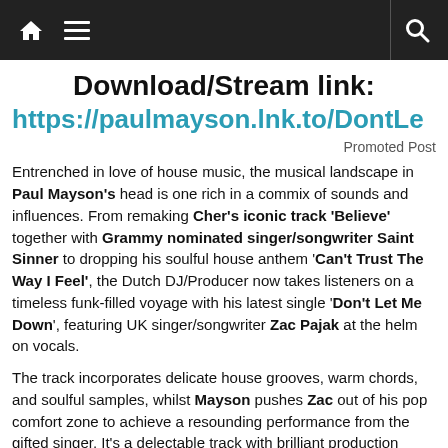Navigation bar with home, menu, and search icons
Download/Stream link:
https://paulmayson.lnk.to/DontLe
Promoted Post
Entrenched in love of house music, the musical landscape in Paul Mayson's head is one rich in a commix of sounds and influences. From remaking Cher's iconic track 'Believe' together with Grammy nominated singer/songwriter Saint Sinner to dropping his soulful house anthem 'Can't Trust The Way I Feel', the Dutch DJ/Producer now takes listeners on a timeless funk-filled voyage with his latest single 'Don't Let Me Down', featuring UK singer/songwriter Zac Pajak at the helm on vocals.
The track incorporates delicate house grooves, warm chords, and soulful samples, whilst Mayson pushes Zac out of his pop comfort zone to achieve a resounding performance from the gifted singer. It's a delectable track with brilliant production touches that contribute to 'Don't Let Me Down' perhaps being Paul's most superior dance